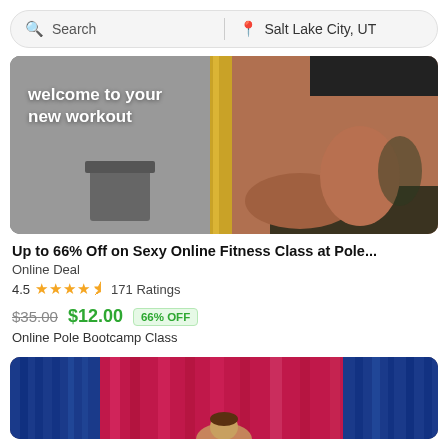Search | Salt Lake City, UT
[Figure (photo): A fitness/pole dance image with a person holding a gold pole, with overlay text 'welcome to your new workout' on a dark gym background]
Up to 66% Off on Sexy Online Fitness Class at Pole...
Online Deal
4.5  171 Ratings
$35.00  $12.00  66% OFF
Online Pole Bootcamp Class
[Figure (photo): Colorful stage curtains in blue, pink, and red with a person partially visible at the bottom]